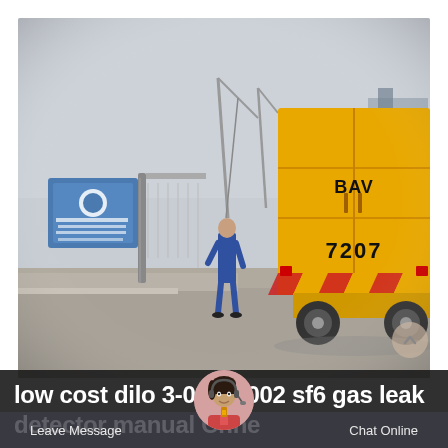[Figure (photo): A yellow cargo truck (marked BAV 7207 with hazard chevrons) parked at a Chinese industrial facility gate. A worker in blue coveralls stands near the truck's rear. Blue signage and industrial cranes visible in the background. Overcast sky.]
low cost dilo 3-033-R002 sf6 gas leak detector manual Chne